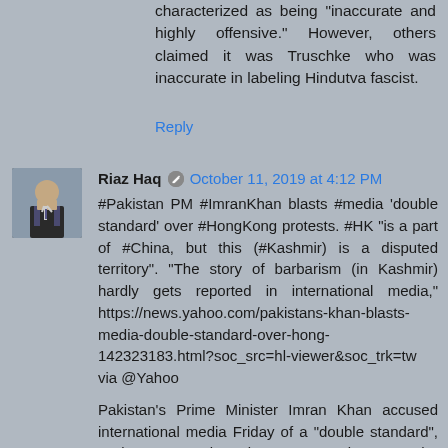characterized as being "inaccurate and highly offensive." However, others claimed it was Truschke who was inaccurate in labeling Hindutva fascist.
Reply
Riaz Haq [edit icon] October 11, 2019 at 4:12 PM
#Pakistan PM #ImranKhan blasts #media 'double standard' over #HongKong protests. #HK "is a part of #China, but this (#Kashmir) is a disputed territory". "The story of barbarism (in Kashmir) hardly gets reported in international media," https://news.yahoo.com/pakistans-khan-blasts-media-double-standard-over-hong-142323183.html?soc_src=hl-viewer&soc_trk=tw via @Yahoo
Pakistan's Prime Minister Imran Khan accused international media Friday of a "double standard", saying news outlets give more prominence to the ongoing protests in Hong Kong than to the situation in disputed Kashmir.
Khan, who returned this week from a trip to Beijing, also told a crowd of roughly 300 people at a rally in Islamabad